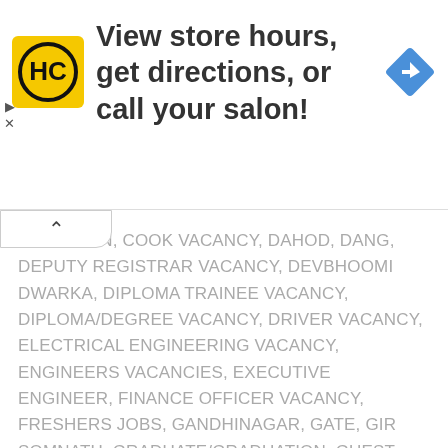[Figure (logo): HC logo - yellow square with black HC letters and circle]
View store hours, get directions, or call your salon!
[Figure (logo): Blue navigation/direction diamond icon with white arrow]
AMINATION, COOK VACANCY, DAHOD, DANG, DEPUTY REGISTRAR VACANCY, DEVBHOOMI DWARKA, DIPLOMA TRAINEE VACANCY, DIPLOMA/DEGREE VACANCY, DRIVER VACANCY, ELECTRICAL ENGINEERING VACANCY, ENGINEERS VACANCIES, EXECUTIVE ENGINEER, FINANCE OFFICER VACANCY, FRESHERS JOBS, GANDHINAGAR, GATE, GIR SOMNATH, GRADUATE/GRADUATION, GUEST FACULTY VACANCY, HINDI TYPIST VACANCY, INSPECTOR VACANCY, JAMNAGAR DISTRIC/ CITY, JUNAGADH, JUNIOR ENGINEER, JUNIOR RESEARCH FELLOW JRF, KHEDA, KUTCH, LAB TECHNICIAN, LABORATORY ASSISTANT VACANCIES, LABORATORY TECHNICIAN VACANCIES, LIBRARIAN, LIBRARY ASSISTANT VACANCIES, LOWER DIVISION CLERK, M. PHIL, M. SC, M. SC CHEMISTRY, M.A, M.SC - COMPUTER SCIENCE /ELECTRONICS, M.TECH, MAHISAGAR, MASTER DEGREE, MATRICULATION/10TH-PASS, MBBS VACANCY, ME/ M.TECH, MEDICAL OFFICER, MEHSANA, MORBI, MSC IN CHEMISTRY, NARMADA, NAVSARI, NET, NURSE VACANCY, OFFICER